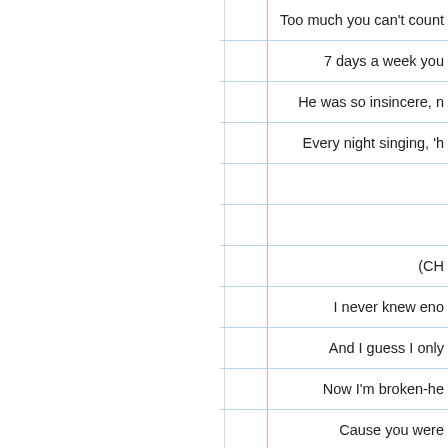Too much you can't count
7 days a week you
He was so insincere, n
Every night singing, 'h
(CH
I never knew eno
And I guess I only
Now I'm broken-he
Cause you were
Nothin' anyone could
I was livin' in a lie
Now I only know tha
But you were ju
Oh, oh, oh,
Oh, oh, oh,
So thanx
Oh, oh, oh,
Oh, oh, oh,
So than